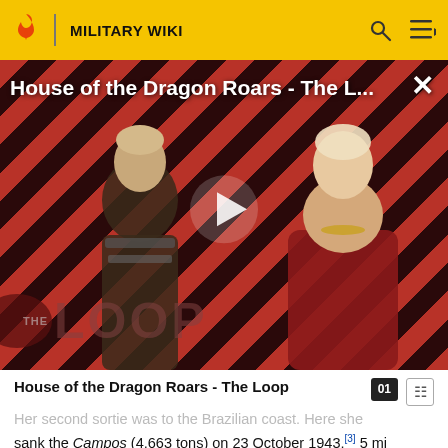MILITARY WIKI
[Figure (screenshot): Video thumbnail for 'House of the Dragon Roars - The L...' showing two fantasy characters in armor against a diagonal red and dark stripe background, with a play button in the center and 'THE LOOP' logo in the lower left. A close (X) button is in the upper right.]
House of the Dragon Roars - The Loop
Her second sortie was to the Brazilian coast. Here she sank the Campos (4,663 tons) on 23 October 1943,[3] 5 mi (8.0 km) south of Alcatazes Island.
References